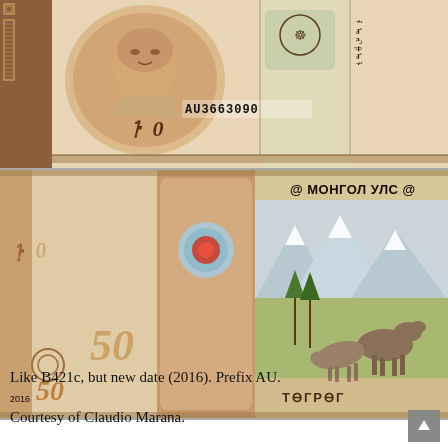[Figure (photo): Front side of a Mongolian 50 Tögrög banknote (2016 issue), serial number AU3663090. Shows portrait of a young person on the left, decorative patterns, the denomination numeral, serial number, and Mongolian script on the right portion.]
[Figure (photo): Back side of a Mongolian 50 Tögrög banknote (2016 issue). Shows '50' numeral on left, central stamp with 'МОНГОЛБАНК' vertical text and security feature, right panel with 'МОНГОЛ УЛС' at top, mountainous landscape scene with two horses grazing, and 'ТӨГРӨГ' at bottom. Year 2016 visible at lower left.]
Like B421c, but new date (2016). Prefix AU.
Courtesy of Claudio Marana.